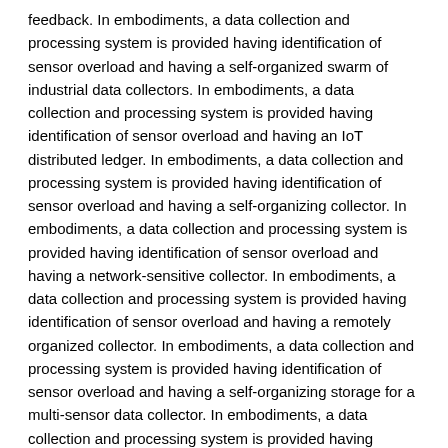feedback. In embodiments, a data collection and processing system is provided having identification of sensor overload and having a self-organized swarm of industrial data collectors. In embodiments, a data collection and processing system is provided having identification of sensor overload and having an IoT distributed ledger. In embodiments, a data collection and processing system is provided having identification of sensor overload and having a self-organizing collector. In embodiments, a data collection and processing system is provided having identification of sensor overload and having a network-sensitive collector. In embodiments, a data collection and processing system is provided having identification of sensor overload and having a remotely organized collector. In embodiments, a data collection and processing system is provided having identification of sensor overload and having a self-organizing storage for a multi-sensor data collector. In embodiments, a data collection and processing system is provided having identification of sensor overload and having a self-organizing network coding for multi-sensor data network. In embodiments, a data collection and processing system